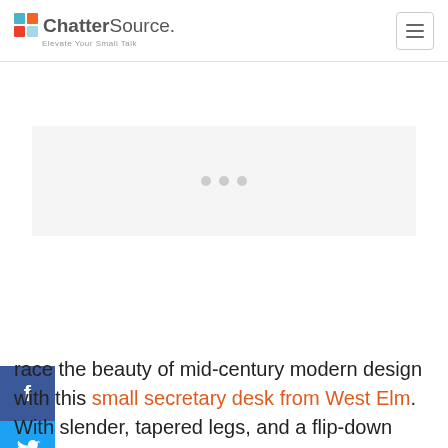ChatterSource. Elevate Your Small Talk
[Figure (other): Advertisement placeholder with three gray dots]
[Figure (infographic): Social share sidebar buttons: Facebook (blue), Twitter (light blue), Pinterest (red), Email (gray)]
race the beauty of mid-century modern design with this small secretary desk from West Elm. With slender, tapered legs, and a flip-down door, this petite desk doubles as both table and work surface, depending on